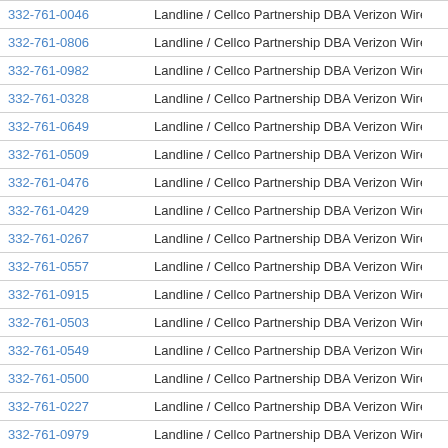| Phone | Type / Carrier | Code |
| --- | --- | --- |
| 332-761-0046 | Landline / Cellco Partnership DBA Verizon Wireless | 3327( |
| 332-761-0806 | Landline / Cellco Partnership DBA Verizon Wireless | 3327( |
| 332-761-0982 | Landline / Cellco Partnership DBA Verizon Wireless | 3327( |
| 332-761-0328 | Landline / Cellco Partnership DBA Verizon Wireless | 3327( |
| 332-761-0649 | Landline / Cellco Partnership DBA Verizon Wireless | 3327( |
| 332-761-0509 | Landline / Cellco Partnership DBA Verizon Wireless | 3327( |
| 332-761-0476 | Landline / Cellco Partnership DBA Verizon Wireless | 3327( |
| 332-761-0429 | Landline / Cellco Partnership DBA Verizon Wireless | 3327( |
| 332-761-0267 | Landline / Cellco Partnership DBA Verizon Wireless | 3327( |
| 332-761-0557 | Landline / Cellco Partnership DBA Verizon Wireless | 3327( |
| 332-761-0915 | Landline / Cellco Partnership DBA Verizon Wireless | 3327( |
| 332-761-0503 | Landline / Cellco Partnership DBA Verizon Wireless | 3327( |
| 332-761-0549 | Landline / Cellco Partnership DBA Verizon Wireless | 3327( |
| 332-761-0500 | Landline / Cellco Partnership DBA Verizon Wireless | 3327( |
| 332-761-0227 | Landline / Cellco Partnership DBA Verizon Wireless | ?7( |
| 332-761-0979 | Landline / Cellco Partnership DBA Verizon Wireless | 3327( |
| 332-761-0552 | Landline / Cellco Partnership DBA Verizon Wireless | 3327( |
| 332-761-0989 | Landline / Cellco Partnership DBA Verizon Wireless | 3327( |